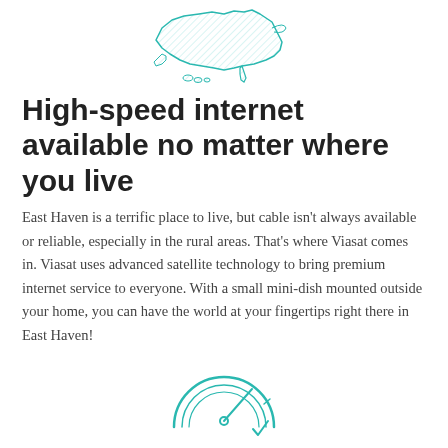[Figure (illustration): Teal/cyan outlined illustration of the United States map with hatching fill]
High-speed internet available no matter where you live
East Haven is a terrific place to live, but cable isn't always available or reliable, especially in the rural areas. That's where Viasat comes in. Viasat uses advanced satellite technology to bring premium internet service to everyone. With a small mini-dish mounted outside your home, you can have the world at your fingertips right there in East Haven!
[Figure (illustration): Teal/cyan outlined speedometer/gauge icon]
Super-fast internet speeds
[Figure (illustration): Dark blue/navy filled circle badge in upper right area]
Viasat Internet's blazing internet speed leaves you wanting for nothing. You can experience the best of online living--stream